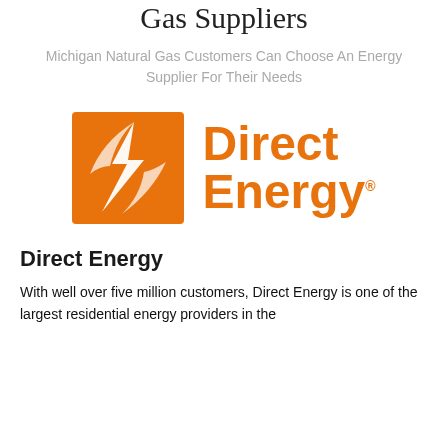Gas Suppliers
Michigan Natural Gas Customers Can Choose An Energy Supplier For Their Needs
[Figure (logo): Direct Energy logo: orange square with white lightning bolt graphic on the left, and 'Direct Energy' text in orange on the right with a registered trademark symbol]
Direct Energy
With well over five million customers, Direct Energy is one of the largest residential energy providers in the